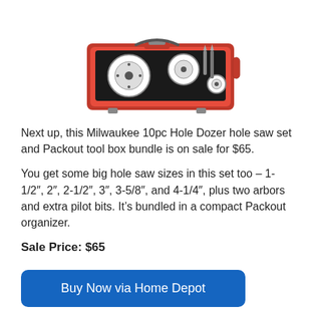[Figure (photo): Milwaukee 10pc Hole Dozer hole saw set in a red Packout toolbox organizer, showing circular hole saw blades and drill bits arranged in a compact red case.]
Next up, this Milwaukee 10pc Hole Dozer hole saw set and Packout tool box bundle is on sale for $65.
You get some big hole saw sizes in this set too – 1-1/2″, 2″, 2-1/2″, 3″, 3-5/8″, and 4-1/4″, plus two arbors and extra pilot bits. It’s bundled in a compact Packout organizer.
Sale Price: $65
Buy Now via Home Depot